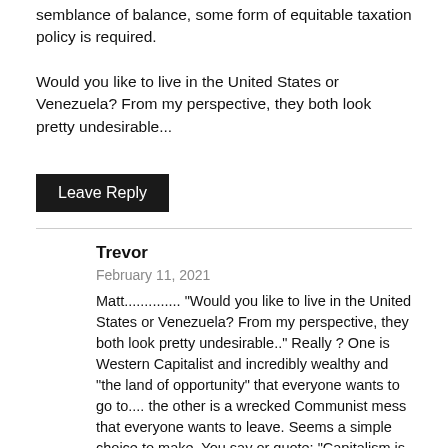semblance of balance, some form of equitable taxation policy is required.
Would you like to live in the United States or Venezuela? From my perspective, they both look pretty undesirable...
Leave Reply
Trevor
February 11, 2021
Matt.............. "Would you like to live in the United States or Venezuela? From my perspective, they both look pretty undesirable.." Really ? One is Western Capitalist and incredibly wealthy and "the land of opportunity" that everyone wants to go to.... the other is a wrecked Communist mess that everyone wants to leave. Seems a simple choice to make. You say or quote: "Capitalism is great at creating wealth but poor at distributing it." Really ? Name a better system! Capitalism is the only system that creates wealth from which everyone benefits! Communism fails everywhere, every time! China is a Mercantilist Economy and due to internal conflict and oppression, it will self-destruct again as well ! Again, you quote: